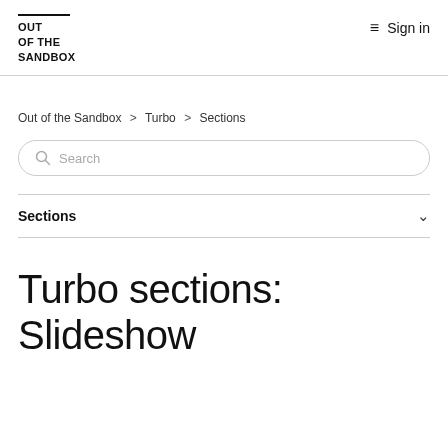OUT OF THE SANDBOX  ≡  Sign in
Out of the Sandbox > Turbo > Sections
Search
Sections
Turbo sections: Slideshow